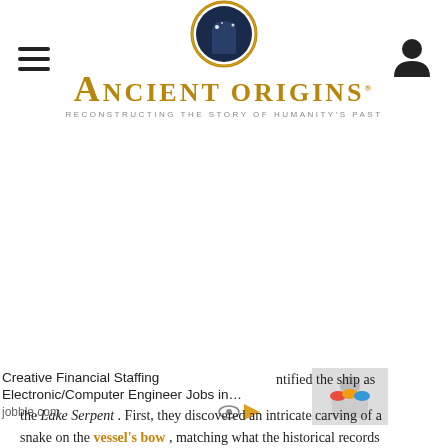Ancient Origins — Reconstructing the Story of Humanity's Past
[Figure (other): Large blank advertisement area in the center of the page]
Creative Financial Staffing Electronic/Computer Engineer Jobs in… jobble.com
[Figure (photo): Small thumbnail image showing people with colorful hard hats]
...ntified the ship as the Lake Serpent. First, they discovered an intricate carving of a snake on the vessel's bow, matching what the historical records